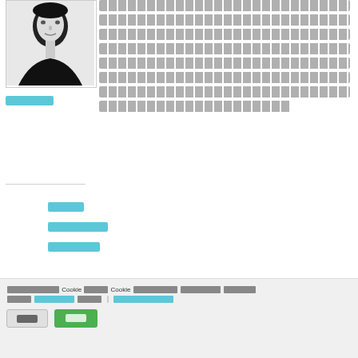[Figure (photo): Black and white portrait photo of a person in dark clothing]
[Thai text block - multiple lines of Thai script content]
[Thai link text in blue]
[Navigation link items in Thai - blue text links]
[Section title in Thai]
[Cookie consent banner text in Thai mentioning Cookie]
[Cookie banner buttons - gray and green]